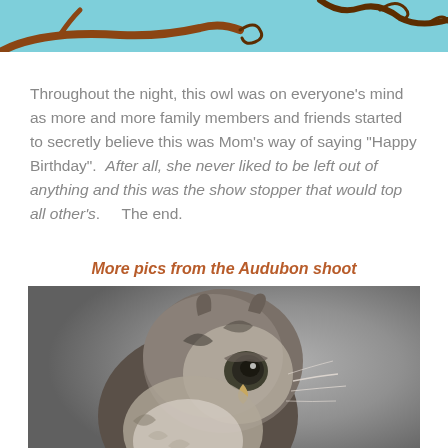[Figure (illustration): Top portion of an illustration showing an owl on a branch against a teal/blue background, with decorative brown branch curls visible]
Throughout the night, this owl was on everyone's mind as more and more family members and friends started to secretly believe this was Mom's way of saying "Happy Birthday".  After all, she never liked to be left out of anything and this was the show stopper that would top all other's.    The end.
More pics from the Audubon shoot
[Figure (photo): Close-up photograph of a small owl (screech owl) against a gray background, looking upward with one eye visible, fluffy gray-brown feathers]